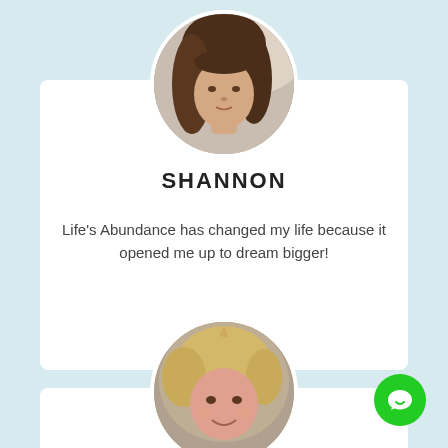[Figure (photo): Circular profile photo of a woman named Shannon with long dark hair]
SHANNON
Life's Abundance has changed my life because it opened me up to dream bigger!
[Figure (photo): Circular profile photo of a second woman with short blonde hair, partially visible at the bottom of the page]